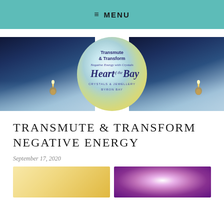≡ MENU
[Figure (photo): Banner image with ocean waves and candle on the left and right sides, with a circular logo in the center reading 'Transmute & Transform Negative Energy with Crystals, Heart of the Bay, Crystals & Jewellery Byron Bay']
TRANSMUTE & TRANSFORM NEGATIVE ENERGY
September 17, 2020
[Figure (photo): Two partial images at the bottom: left is a warm golden/yellow gradient, right is a purple/magenta radial glow]